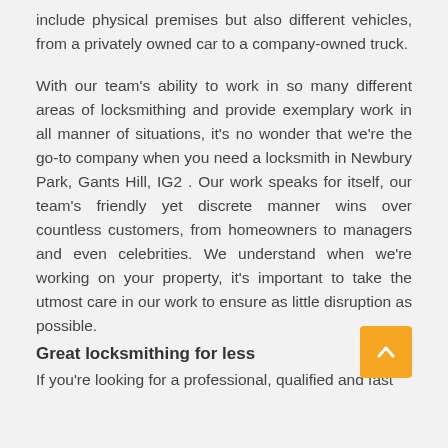include physical premises but also different vehicles, from a privately owned car to a company-owned truck.
With our team’s ability to work in so many different areas of locksmithing and provide exemplary work in all manner of situations, it’s no wonder that we’re the go-to company when you need a locksmith in Newbury Park, Gants Hill, IG2 . Our work speaks for itself, our team’s friendly yet discrete manner wins over countless customers, from homeowners to managers and even celebrities. We understand when we’re working on your property, it’s important to take the utmost care in our work to ensure as little disruption as possible.
Great locksmithing for less
If you’re looking for a professional, qualified and fast